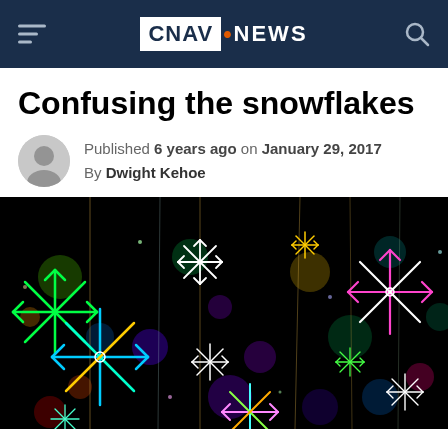CNAV.NEWS
Confusing the snowflakes
Published 6 years ago on January 29, 2017
By Dwight Kehoe
[Figure (photo): Colorful neon glowing snowflakes on a black background, hanging like ornaments with strings]